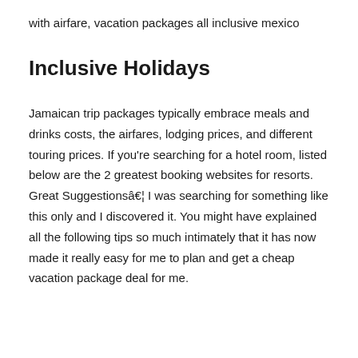with airfare, vacation packages all inclusive mexico
Inclusive Holidays
Jamaican trip packages typically embrace meals and drinks costs, the airfares, lodging prices, and different touring prices. If you’re searching for a hotel room, listed below are the 2 greatest booking websites for resorts. Great Suggestionsâ€¦ I was searching for something like this only and I discovered it. You might have explained all the following tips so much intimately that it has now made it really easy for me to plan and get a cheap vacation package deal for me.